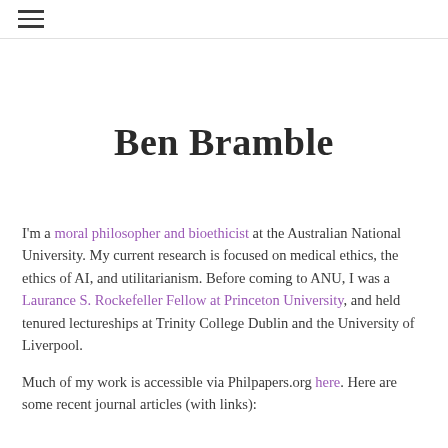≡
Ben Bramble
I'm a moral philosopher and bioethicist at the Australian National University. My current research is focused on medical ethics, the ethics of AI, and utilitarianism. Before coming to ANU, I was a Laurance S. Rockefeller Fellow at Princeton University, and held tenured lectureships at Trinity College Dublin and the University of Liverpool.
Much of my work is accessible via Philpapers.org here. Here are some recent journal articles (with links):